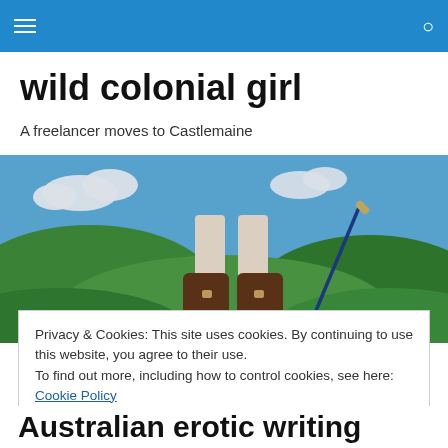Navigation bar with menu icon and search icon
wild colonial girl
A freelancer moves to Castlemaine
[Figure (illustration): Illustration of cowboy boots standing on a path through green rolling hills with blue sky and clouds in the background.]
Privacy & Cookies: This site uses cookies. By continuing to use this website, you agree to their use.
To find out more, including how to control cookies, see here: Cookie Policy
Close and accept
Australian erotic writing